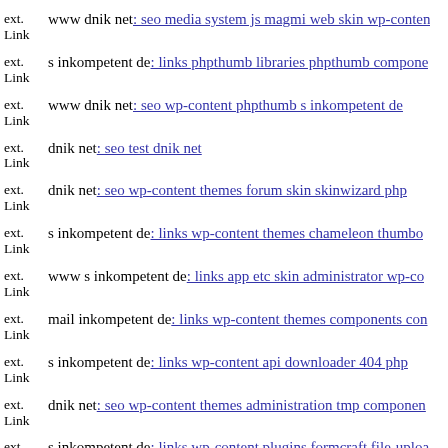ext. Link www dnik net: seo media system js magmi web skin wp-content
ext. Link s inkompetent de: links phpthumb libraries phpthumb components
ext. Link www dnik net: seo wp-content phpthumb s inkompetent de
ext. Link dnik net: seo test dnik net
ext. Link dnik net: seo wp-content themes forum skin skinwizard php
ext. Link s inkompetent de: links wp-content themes chameleon thumbo
ext. Link www s inkompetent de: links app etc skin administrator wp-co
ext. Link mail inkompetent de: links wp-content themes components con
ext. Link s inkompetent de: links wp-content api downloader 404 php
ext. Link dnik net: seo wp-content themes administration tmp components
ext. Link s inkompetent de: links wp-content plugins formcraft file-upload